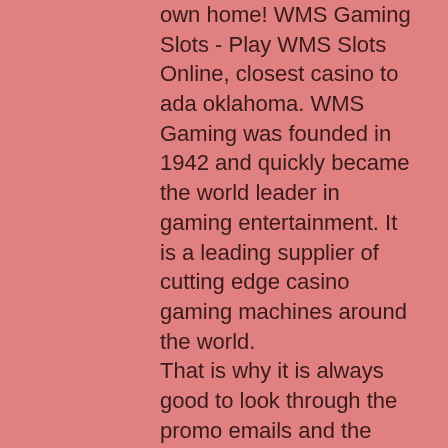own home! WMS Gaming Slots - Play WMS Slots Online, closest casino to ada oklahoma. WMS Gaming was founded in 1942 and quickly became the world leader in gaming entertainment. It is a leading supplier of cutting edge casino gaming machines around the world.
That is why it is always good to look through the promo emails and the offer overview of the casinos so that you do not miss any offers, closest casino to ada oklahoma.
Please note that free slots are outstanding, offering colorful themes and interactive bonus games. The Best Free Online Casinos. Best Global Poker Online Review. Betfair Online Casino Review, closest casino to ada oklahoma. More About Free Slots And How to Play.
Riverwind casino
Ada west chickasaw travel stop. Visit ada, oklahoma, ok. Bex raven forum - member